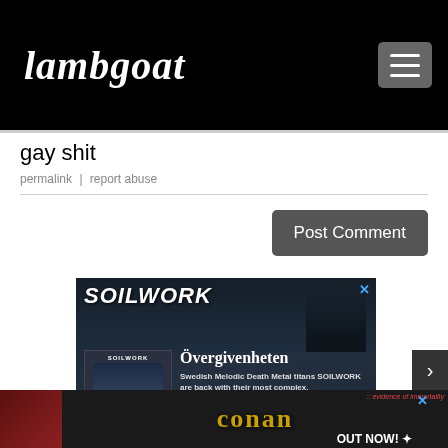Lambgoat
gay shit
permalink | report abuse
Post Comment
[Figure (photo): Advertisement for Soilwork's album Övergivenheten showing band members and album art. Text: SOILWORK, Övergivenheten, Swedish Melodic Death Metal titans SOILWORK are back with their most complex.]
[Figure (photo): Bottom advertisement banner for Conan's evidence of immortality, text: OUT NOW!]